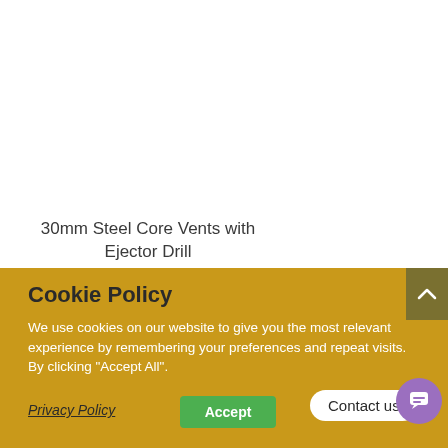30mm Steel Core Vents with Ejector Drill
Add to RFQ List
Cookie Policy
We use cookies on our website to give you the most relevant experience by remembering your preferences and repeat visits. By clicking “Accept All”.
Privacy Policy
Accept
Contact us